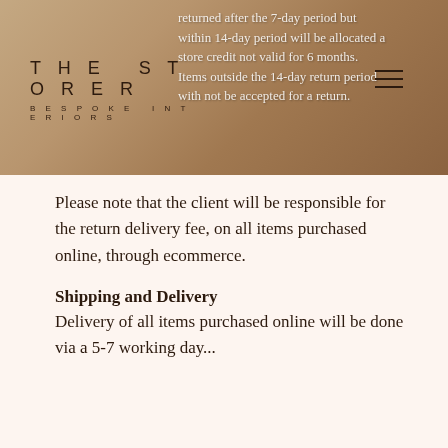[Figure (photo): Header image with warm brown/tan background showing blurred interior objects, overlaid with partial policy text about 7-day and 14-day return periods, store credit valid for 6 months, and items outside 14-day period not accepted for return.]
THE STORER BESPOKE INTERIORS
Items returned must be in their original condition, no damaged/worn items will be legible for a return. Items must have their original store tags on to qualify for a return. Please contact us on info@thestorer.co or 071 358 7220 to discuss the reasons for your return.
Please note that the client will be responsible for the return delivery fee, on all items purchased online, through ecommerce.
Shipping and Delivery
Delivery of all items purchased online will be done via a 5-7 working day...